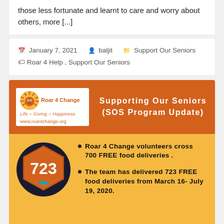those less fortunate and learnt to care and worry about others, more [...]
January 7, 2021  baljit  Support Our Seniors  Roar 4 Help, Support Our Seniors
[Figure (infographic): Roar 4 Change orange banner with lion logo, tagline 'Life = Giving = Happiness', website www.roar4change.org, and title 'Supporting Our Seniors (SOS Program Update)']
[Figure (infographic): Yellow background info box with hexagonal badge showing number 723, bullet points about Roar 4 Change volunteers crossing 700 FREE food deliveries and 723 FREE food deliveries from March 16 - July 19, 2020]